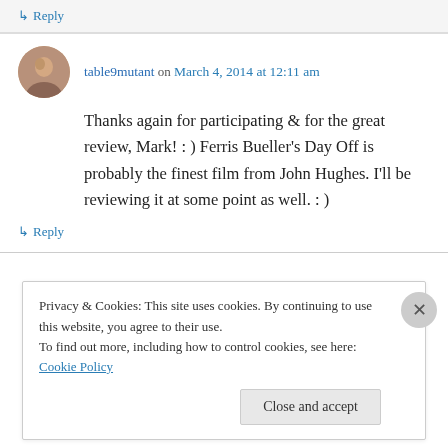↳ Reply
table9mutant on March 4, 2014 at 12:11 am
Thanks again for participating & for the great review, Mark! : ) Ferris Bueller's Day Off is probably the finest film from John Hughes. I'll be reviewing it at some point as well. : )
↳ Reply
Privacy & Cookies: This site uses cookies. By continuing to use this website, you agree to their use.
To find out more, including how to control cookies, see here: Cookie Policy
Close and accept